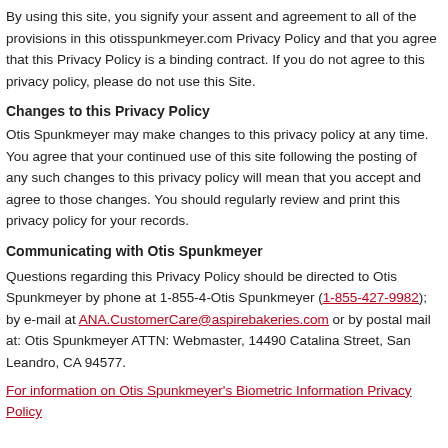By using this site, you signify your assent and agreement to all of the provisions in this otisspunkmeyer.com Privacy Policy and that you agree that this Privacy Policy is a binding contract. If you do not agree to this privacy policy, please do not use this Site.
Changes to this Privacy Policy
Otis Spunkmeyer may make changes to this privacy policy at any time. You agree that your continued use of this site following the posting of any such changes to this privacy policy will mean that you accept and agree to those changes. You should regularly review and print this privacy policy for your records.
Communicating with Otis Spunkmeyer
Questions regarding this Privacy Policy should be directed to Otis Spunkmeyer by phone at 1-855-4-Otis Spunkmeyer (1-855-427-9982); by e-mail at ANA.CustomerCare@aspirebakeries.com or by postal mail at: Otis Spunkmeyer ATTN: Webmaster, 14490 Catalina Street, San Leandro, CA 94577.
For information on Otis Spunkmeyer's Biometric Information Privacy Policy